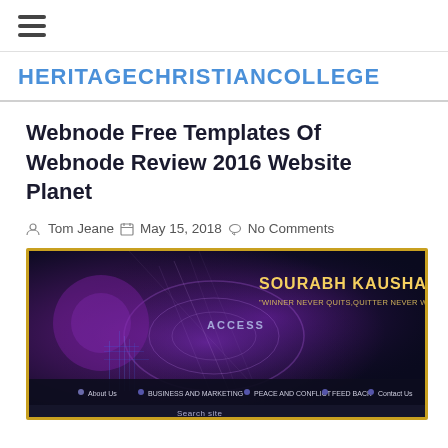≡ (hamburger menu)
HERITAGECHRISTIANCOLLEGE
Webnode Free Templates Of Webnode Review 2016 Website Planet
Tom Jeane  May 15, 2018  No Comments
[Figure (screenshot): Screenshot of a Webnode website for Sourabh Kaushal with the tagline 'WINNER NEVER QUITS, QUITTER NEVER WIN', featuring a purple/blue swirling abstract background, navigation menu with About Us, Business and Marketing, Peace and Conflict, Feed Back, Contact Us, and a Search site bar at the bottom.]